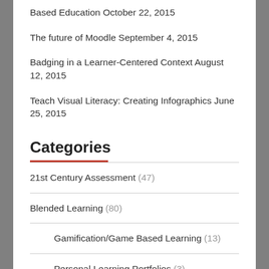Based Education October 22, 2015
The future of Moodle September 4, 2015
Badging in a Learner-Centered Context August 12, 2015
Teach Visual Literacy: Creating Infographics June 25, 2015
Categories
21st Century Assessment (47)
Blended Learning (80)
Gamification/Game Based Learning (13)
Personal Learning Portfolios (3)
Social Learning (8)